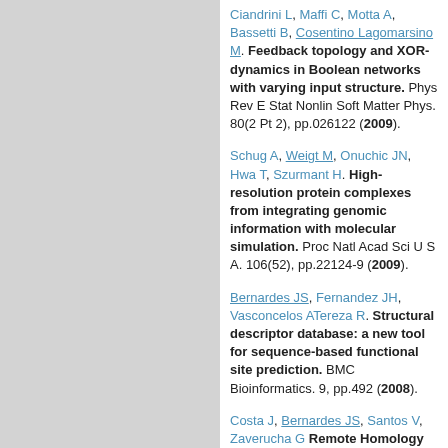Ciandrini L, Maffi C, Motta A, Bassetti B, Cosentino Lagomarsino M. Feedback topology and XOR-dynamics in Boolean networks with varying input structure. Phys Rev E Stat Nonlin Soft Matter Phys. 80(2 Pt 2), pp.026122 (2009).
Schug A, Weigt M, Onuchic JN, Hwa T, Szurmant H. High-resolution protein complexes from integrating genomic information with molecular simulation. Proc Natl Acad Sci U S A. 106(52), pp.22124-9 (2009).
Bernardes JS, Fernandez JH, Vasconcelos ATereza R. Structural descriptor database: a new tool for sequence-based functional site prediction. BMC Bioinformatics. 9, pp.492 (2008).
Costa J, Bernardes JS, Santos V, Zaverucha G Remote Homology Detection Through Discriminative Statistical Relational Learning. in The European Conference on Machine Learning and Principles and Practice of Knowledge